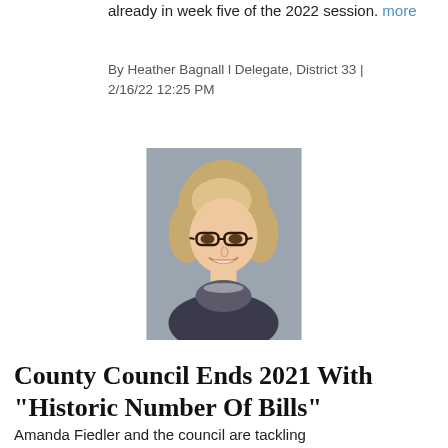already in week five of the 2022 session. more
By Heather Bagnall l Delegate, District 33 | 2/16/22 12:25 PM
[Figure (photo): Professional headshot of a woman with short blonde hair, glasses, and a dark blazer, smiling against a grey background.]
County Council Ends 2021 With "Historic Number Of Bills"
Amanda Fiedler and the council are tackling